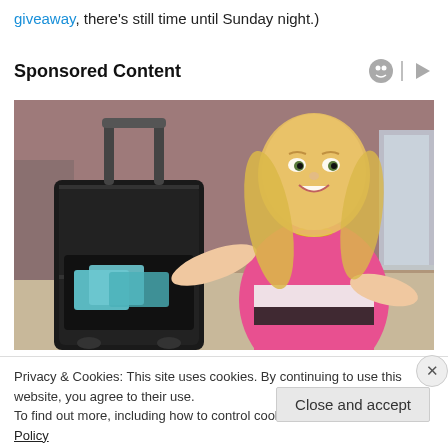giveaway, there's still time until Sunday night.)
Sponsored Content
[Figure (photo): Woman with blonde hair wearing a pink, white, and black striped athletic top, posing with a black rolling suitcase that has an open front pocket containing items.]
Privacy & Cookies: This site uses cookies. By continuing to use this website, you agree to their use.
To find out more, including how to control cookies, see here: Cookie Policy
Close and accept